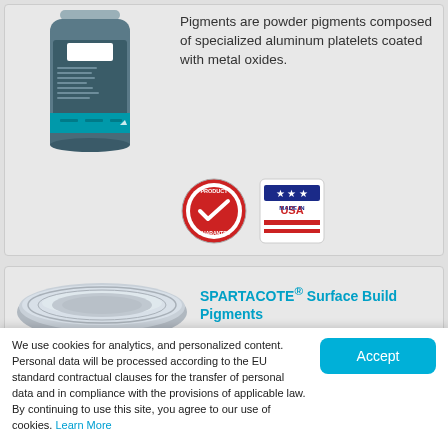[Figure (photo): Product container/bottle with teal label for pigment product]
Pigments are powder pigments composed of specialized aluminum platelets coated with metal oxides.
[Figure (logo): Product Guarantee badge (circular red and white checkmark badge) and Made in USA badge]
[Figure (photo): Grey disc/tray product image for SPARTACOTE Surface Build Pigments]
SPARTACOTE® Surface Build Pigments
We use cookies for analytics, and personalized content. Personal data will be processed according to the EU standard contractual clauses for the transfer of personal data and in compliance with the provisions of applicable law. By continuing to use this site, you agree to our use of cookies. Learn More